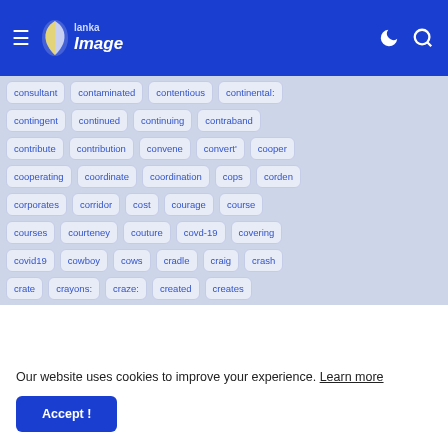Lanka Image
consultant
contaminated
contentious
continental:
contingent
continued
continuing
contraband
contribute
contribution
convene
convert'
cooper
cooperating
coordinate
coordination
cops
corden
corporates
corridor
cost
courage
course
courses
courteney
couture
covd-19
covering
covid19
cowboy
cows
cradle
craig
crash
crate
crayons:
craze:
created
creates
Our website uses cookies to improve your experience. Learn more
Accept !